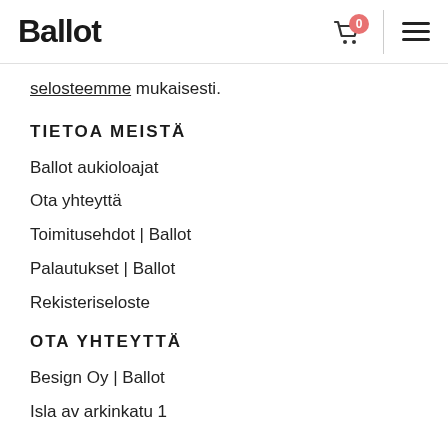Ballot [logo] | cart (0) | menu
selosteemme mukaisesti.
TIETOA MEISTÄ
Ballot aukioloajat
Ota yhteyttä
Toimitusehdot | Ballot
Palautukset | Ballot
Rekisteriseloste
OTA YHTEYTTÄ
Besign Oy | Ballot
Isla av arkinkatu 1